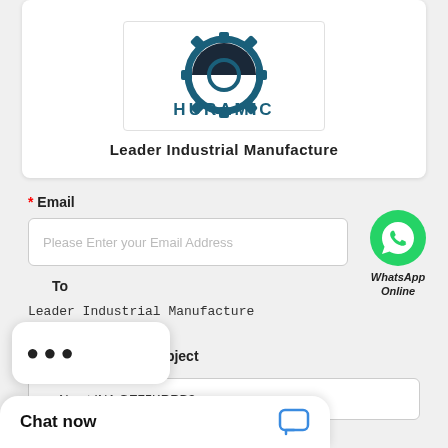[Figure (logo): HURAMIC industrial company gear logo with gear icon and company name in dark teal]
Leader Industrial Manufacture
* Email
Please Enter your Email Address
[Figure (illustration): WhatsApp green phone icon bubble with label 'WhatsApp Online']
To
Leader Industrial Manufacture
×
Subject
ry About INA GE75KRRB3
Chat now